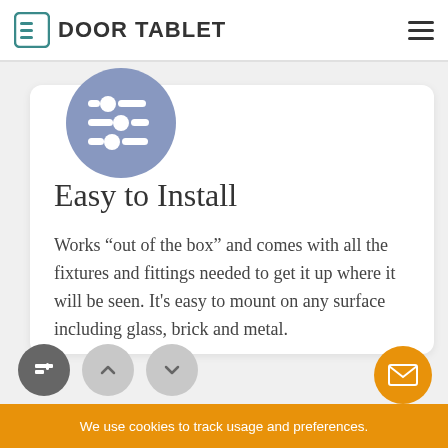DOOR TABLET
[Figure (illustration): Blue-grey circle icon with three horizontal sliders/controls]
Easy to Install
Works “out of the box” and comes with all the fixtures and fittings needed to get it up where it will be seen. It’s easy to mount on any surface including glass, brick and metal.
We use cookies to track usage and preferences.